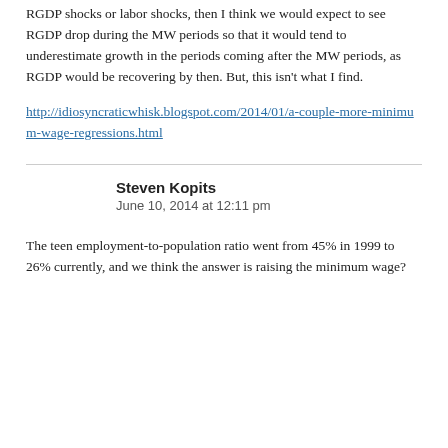RGDP shocks or labor shocks, then I think we would expect to see RGDP drop during the MW periods so that it would tend to underestimate growth in the periods coming after the MW periods, as RGDP would be recovering by then. But, this isn't what I find.
http://idiosyncraticwhisk.blogspot.com/2014/01/a-couple-more-minimum-wage-regressions.html
Steven Kopits
June 10, 2014 at 12:11 pm
The teen employment-to-population ratio went from 45% in 1999 to 26% currently, and we think the answer is raising the minimum wage?